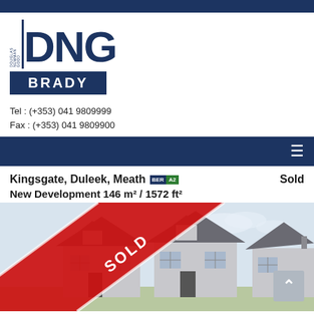[Figure (logo): DNG Brady real estate agency logo with large blue DNG letters and BRADY in white text on dark blue banner]
Tel : (+353) 041 9809999
Fax : (+353) 041 9809900
Kingsgate, Duleek, Meath BER A2   Sold
New Development 146 m² / 1572 ft²
[Figure (photo): Houses at Kingsgate development with a red SOLD diagonal ribbon banner and a grey scroll-to-top button in the bottom right]